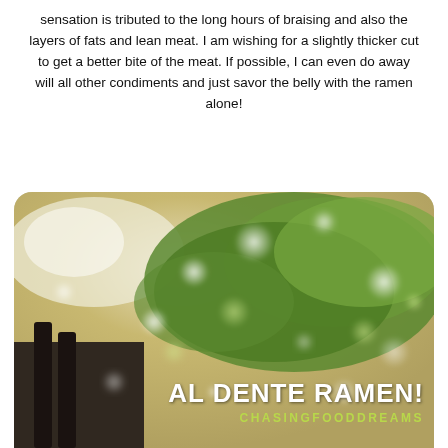sensation is tributed to the long hours of braising and also the layers of fats and lean meat. I am wishing for a slightly thicker cut to get a better bite of the meat. If possible, I can even do away will all other condiments and just savor the belly with the ramen alone!
[Figure (photo): Close-up food photo of a ramen bowl with green herbs/garnish visible, bokeh effect, with text overlay reading 'AL DENTE RAMEN!' and 'CHASINGFOODDREAMS' in white and green lettering at the bottom right.]